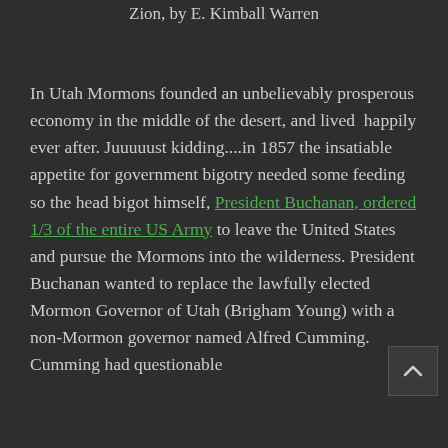Zion, by E. Kimball Warren
In Utah Mormons founded an unbelievably prosperous economy in the middle of the desert, and lived happily ever after. Juuuuust kidding....in 1857 the insatiable appetite for government bigotry needed some feeding so the head bigot himself, President Buchanan, ordered 1/3 of the entire US Army to leave the United States and pursue the Mormons into the wilderness. President Buchanan wanted to replace the lawfully elected Mormon Governor of Utah (Brigham Young) with a non-Mormon governor named Alfred Cumming. Cumming had questionable